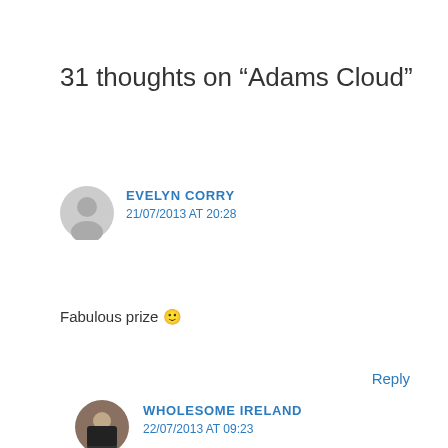31 thoughts on “Adams Cloud”
EVELYN CORRY
21/07/2013 AT 20:28
Fabulous prize 🙂
Reply
WHOLESOME IRELAND
22/07/2013 AT 09:23